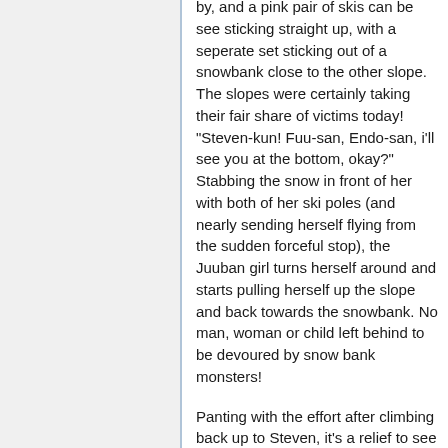by, and a pink pair of skis can be see sticking straight up, with a seperate set sticking out of a snowbank close to the other slope. The slopes were certainly taking their fair share of victims today! "Steven-kun! Fuu-san, Endo-san, i'll see you at the bottom, okay?" Stabbing the snow in front of her with both of her ski poles (and nearly sending herself flying from the sudden forceful stop), the Juuban girl turns herself around and starts pulling herself up the slope and back towards the snowbank. No man, woman or child left behind to be devoured by snow bank monsters!
Panting with the effort after climbing back up to Steven, it's a relief to see the transfer student not looking any worse for his trip, and he was even making a joke. "I think that's why we need to try